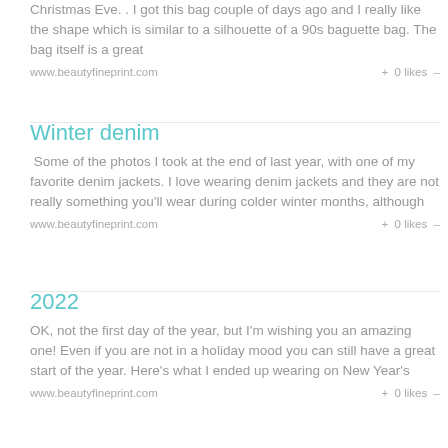Christmas Eve. . I got this bag couple of days ago and I really like the shape which is similar to a silhouette of a 90s baguette bag. The bag itself is a great
www.beautyfineprint.com   + 0 likes –
Winter denim
Some of the photos I took at the end of last year, with one of my favorite denim jackets. I love wearing denim jackets and they are not really something you'll wear during colder winter months, although
www.beautyfineprint.com   + 0 likes –
2022
OK, not the first day of the year, but I'm wishing you an amazing one! Even if you are not in a holiday mood you can still have a great start of the year. Here's what I ended up wearing on New Year's
www.beautyfineprint.com   + 0 likes –